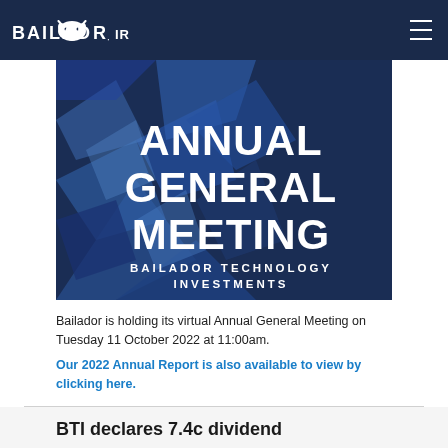BAILADOR
[Figure (illustration): Annual General Meeting banner image with dark blue geometric background and text reading 'ANNUAL GENERAL MEETING BAILADOR TECHNOLOGY INVESTMENTS']
Bailador is holding its virtual Annual General Meeting on Tuesday 11 October 2022 at 11:00am.
Our 2022 Annual Report is also available to view by clicking here.
BTI declares 7.4c dividend